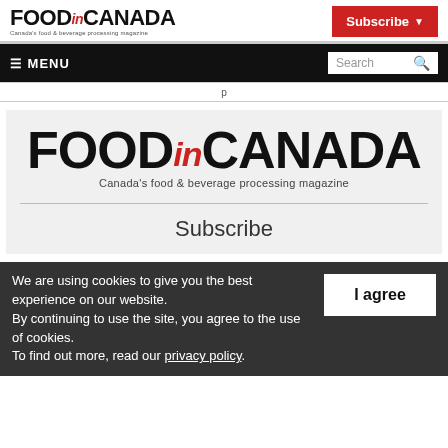[Figure (logo): Food in Canada magazine logo in top header - bold black text with red italic 'in', subtitle: Canada's food & beverage processing magazine]
[Figure (logo): Subscribe button - red background, white bold text, dropdown arrow]
[Figure (screenshot): Navigation bar with hamburger MENU on left, Search box on right]
[Figure (logo): Large Food in Canada magazine logo centered on light gray card - bold black FOOD.CANADA with red italic 'in', subtitle Canada's food & beverage processing magazine]
Subscribe
We are using cookies to give you the best experience on our website. By continuing to use the site, you agree to the use of cookies. To find out more, read our privacy policy.